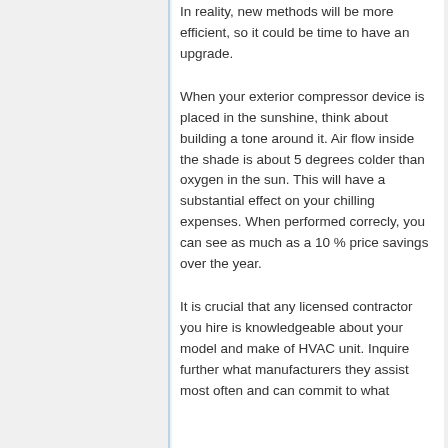In reality, new methods will be more efficient, so it could be time to have an upgrade.
When your exterior compressor device is placed in the sunshine, think about building a tone around it. Air flow inside the shade is about 5 degrees colder than oxygen in the sun. This will have a substantial effect on your chilling expenses. When performed correcly, you can see as much as a 10 % price savings over the year.
It is crucial that any licensed contractor you hire is knowledgeable about your model and make of HVAC unit. Inquire further what manufacturers they assist most often and can commit to what...